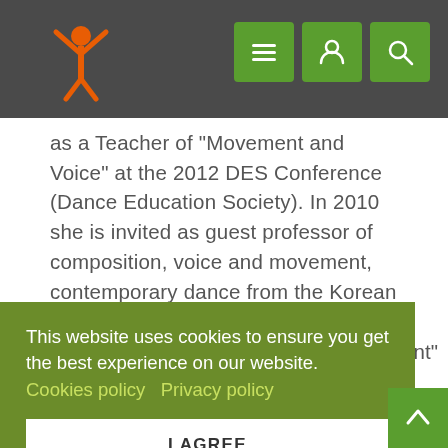Navigation header with logo and menu icons
as a Teacher of "Movement and Voice" at the 2012 DES Conference (Dance Education Society). In 2010 she is invited as guest professor of composition, voice and movement, contemporary dance from the Korean National University of Arts in Seoul. From 2001 to 2010 she was a teaching assistant at the Dance departement at DAMS University (Disciplines of Arts, Music and Entertainment) in Rome. In 2015 she
This website uses cookies to ensure you get the best experience on our website.
Cookies policy  Privacy policy

I AGREE